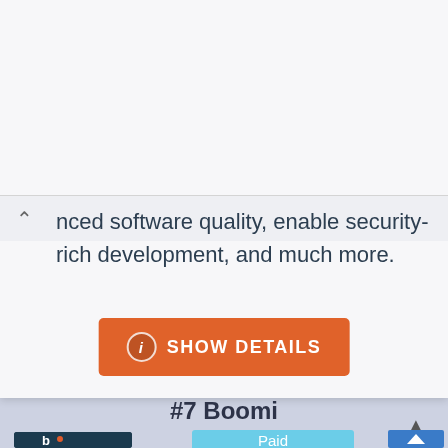...nced software quality, enable security-rich development, and much more.
[Figure (other): Orange button labeled 'SHOW DETAILS' with an info icon (circle with letter i)]
#7 Boomi
[Figure (logo): Boomi logo: dark navy background with white lowercase letter 'b' and orange dot]
Paid